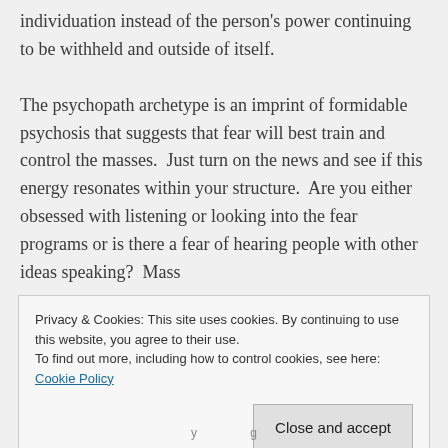individuation instead of the person's power continuing to be withheld and outside of itself.

The psychopath archetype is an imprint of formidable psychosis that suggests that fear will best train and control the masses.  Just turn on the news and see if this energy resonates within your structure.  Are you either obsessed with listening or looking into the fear programs or is there a fear of hearing people with other ideas speaking?  Mass
Privacy & Cookies: This site uses cookies. By continuing to use this website, you agree to their use.
To find out more, including how to control cookies, see here: Cookie Policy
Close and accept